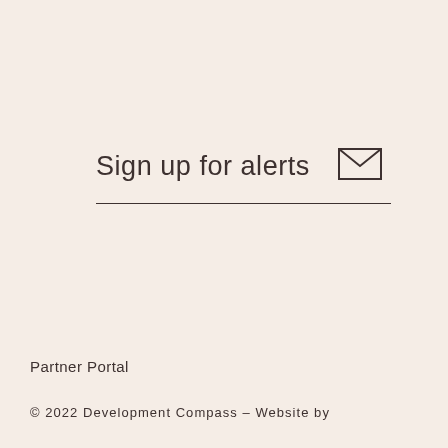Sign up for alerts
[Figure (illustration): Envelope/mail icon outline]
Partner Portal
© 2022 Development Compass – Website by